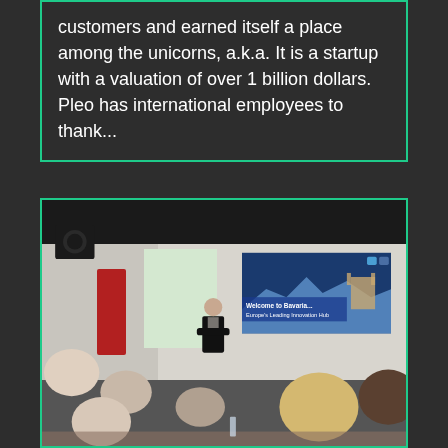customers and earned itself a place among the unicorns, a.k.a. It is a startup with a valuation of over 1 billion dollars. Pleo has international employees to thank...
[Figure (photo): A business presentation or workshop scene. A presenter in dark jacket stands at the front of a room with a projection screen showing a slide with a castle image and text reading 'Welcome to Bavaria... Europe's Leading Innovation Hub'. Several attendees are seated facing the presenter. A red banner is visible on the left wall.]